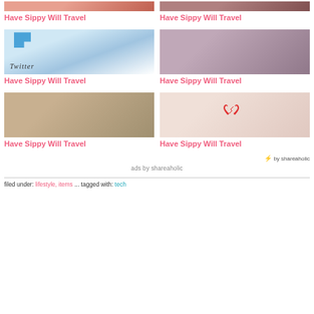[Figure (photo): Cropped top portion of a travel photo with pink and brown tones]
Have Sippy Will Travel
[Figure (photo): Cropped top portion of a travel photo with dark tones]
Have Sippy Will Travel
[Figure (photo): Twitter logo on a window with handwritten Twitter text below]
Have Sippy Will Travel
[Figure (photo): Couple at a wedding, man in pink/mauve suit, woman in white dress and leather jacket]
Have Sippy Will Travel
[Figure (photo): Older woman and younger woman laughing together outdoors]
Have Sippy Will Travel
[Figure (photo): Two hands holding a broken red paper heart]
Have Sippy Will Travel
⚡ by shareaholic
ads by shareaholic
filed under: lifestyle, items ... tagged with: tech